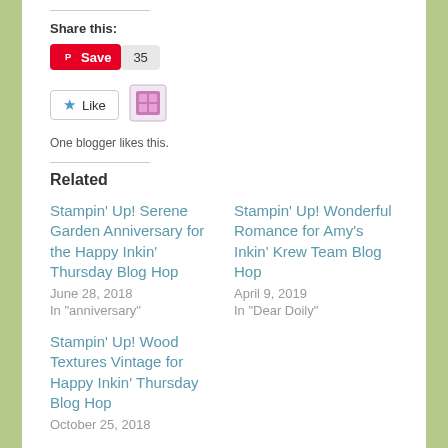Share this:
[Figure (screenshot): Pinterest Save button with count 35]
[Figure (screenshot): Like button with star icon and blogger avatar icon. One blogger likes this.]
One blogger likes this.
Related
Stampin' Up! Serene Garden Anniversary for the Happy Inkin' Thursday Blog Hop
June 28, 2018
In "anniversary"
Stampin' Up! Wonderful Romance for Amy's Inkin' Krew Team Blog Hop
April 9, 2019
In "Dear Doily"
Stampin' Up! Wood Textures Vintage for Happy Inkin' Thursday Blog Hop
October 25, 2018